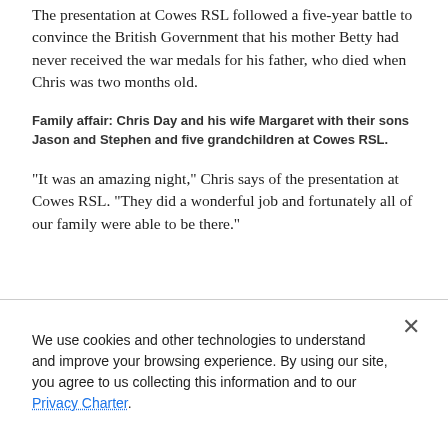The presentation at Cowes RSL followed a five-year battle to convince the British Government that his mother Betty had never received the war medals for his father, who died when Chris was two months old.
Family affair: Chris Day and his wife Margaret with their sons Jason and Stephen and five grandchildren at Cowes RSL.
“It was an amazing night,” Chris says of the presentation at Cowes RSL. “They did a wonderful job and fortunately all of our family were able to be there.”
We use cookies and other technologies to understand and improve your browsing experience. By using our site, you agree to us collecting this information and to our Privacy Charter.